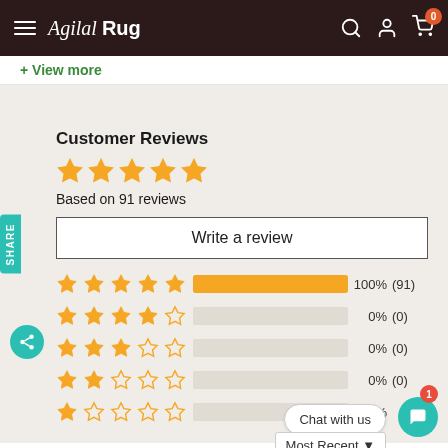Agilal Rug
+ View more
Customer Reviews
Based on 91 reviews
Write a review
[Figure (bar-chart): Rating distribution]